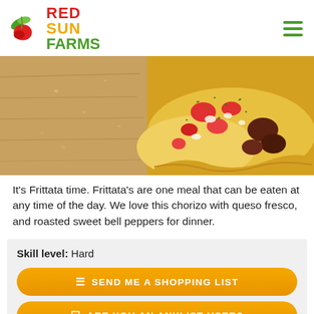[Figure (logo): Red Sun Farms logo with leaf/pepper icon and three-line text]
[Figure (photo): Close-up photo of a frittata with tomatoes, herbs (parsley/basil), queso fresco, chorizo and roasted sweet bell peppers on a wooden board]
It's Frittata time. Frittata's are one meal that can be eaten at any time of the day. We love this chorizo with queso fresco, and roasted sweet bell peppers for dinner.
Skill level: Hard
SEND ME A SHOPPING LIST
ARE YOU AN ANYLIST USER?